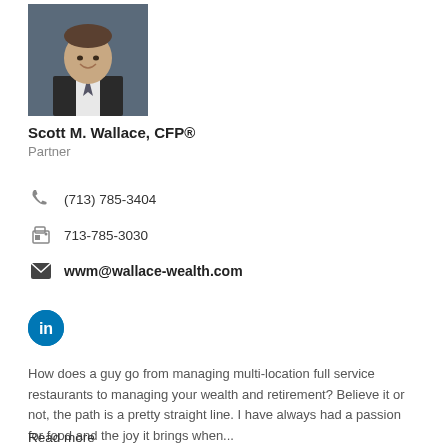[Figure (photo): Professional headshot of Scott M. Wallace, a man in a dark suit with a tie, smiling]
Scott M. Wallace, CFP®
Partner
(713) 785-3404
713-785-3030
wwm@wallace-wealth.com
[Figure (logo): LinkedIn circular button icon in blue]
How does a guy go from managing multi-location full service restaurants to managing your wealth and retirement? Believe it or not, the path is a pretty straight line. I have always had a passion for food and the joy it brings when...
Read more